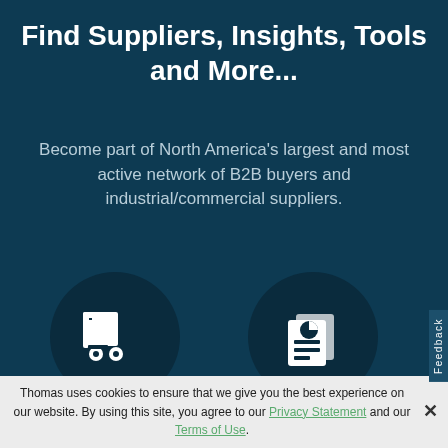Find Suppliers, Insights, Tools and More...
Become part of North America's largest and most active network of B2B buyers and industrial/commercial suppliers.
[Figure (illustration): Circular dark icon showing a forklift/delivery cart icon in white]
[Figure (illustration): Circular dark icon showing a news/document report icon in white]
Select From Over 500,000
Receive Daily
Thomas uses cookies to ensure that we give you the best experience on our website. By using this site, you agree to our Privacy Statement and our Terms of Use.